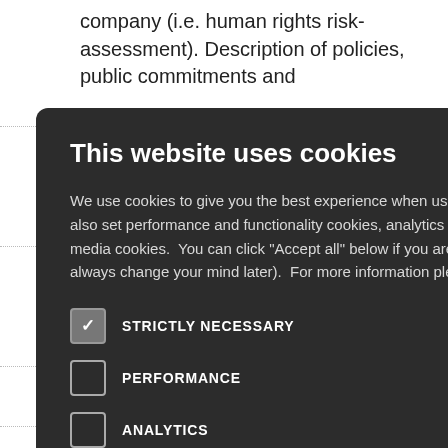company (i.e. human rights risk-assessment). Description of policies, public commitments and
[Figure (screenshot): Cookie consent modal overlay on a dark background. Title: 'This website uses cookies'. Body text explains cookie usage. Five checkboxes: STRICTLY NECESSARY (checked), PERFORMANCE, ANALYTICS, FUNCTIONALITY, SOCIAL MEDIA (all unchecked except first). A close button (X) is in the top right corner.]
ement Human risks and
ors and